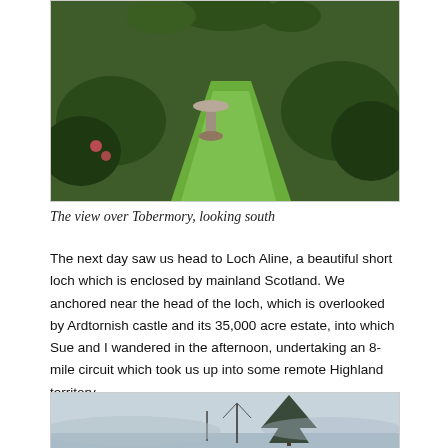[Figure (photo): Aerial/elevated view of a garden with a green lawn path, a stone birdbath, hedges and flowering plants, looking south over Tobermory]
The view over Tobermory, looking south
The next day saw us head to Loch Aline, a beautiful short loch which is enclosed by mainland Scotland. We anchored near the head of the loch, which is overlooked by Ardtornish castle and its 35,000 acre estate, into which Sue and I wandered in the afternoon, undertaking an 8-mile circuit which took us up into some remote Highland territory.
[Figure (photo): A misty landscape scene with a tall tree and what appears to be a boat mast visible against a pale grey sky]